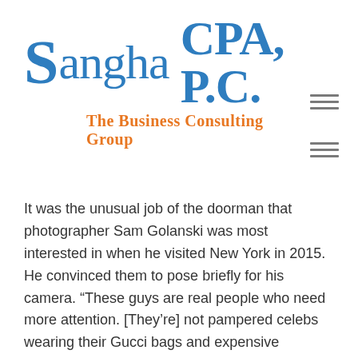[Figure (logo): Sangha CPA, P.C. logo — blue serif text with orange subtitle 'The Business Consulting Group']
It was the unusual job of the doorman that photographer Sam Golanski was most interested in when he visited New York in 2015. He convinced them to pose briefly for his camera. “These guys are real people who need more attention. [They’re] not pampered celebs wearing their Gucci bags and expensive watches,” Golanski told Business Insider.